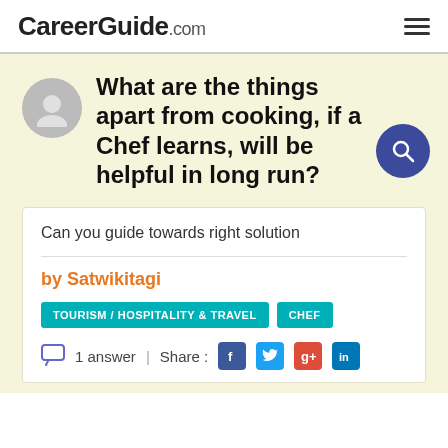CareerGuide.com
What are the things apart from cooking, if a Chef learns, will be helpful in long run?
Can you guide towards right solution
by Satwikitagi
TOURISM / HOSPITALITY & TRAVEL  CHEF
1 answer  |  Share :